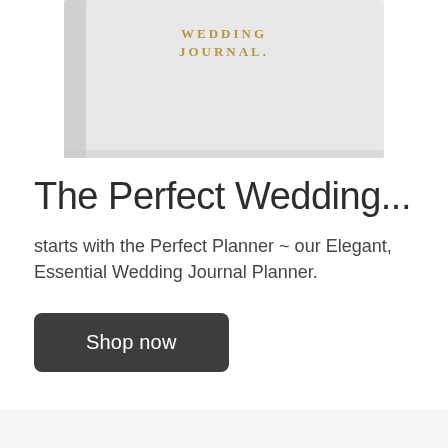[Figure (photo): A white leather-bound Wedding Journal book with gold embossed text reading 'WEDDING JOURNAL' on the cover, partially cropped at the top of the page.]
The Perfect Wedding...
starts with the Perfect Planner ~ our Elegant, Essential Wedding Journal Planner.
Shop now